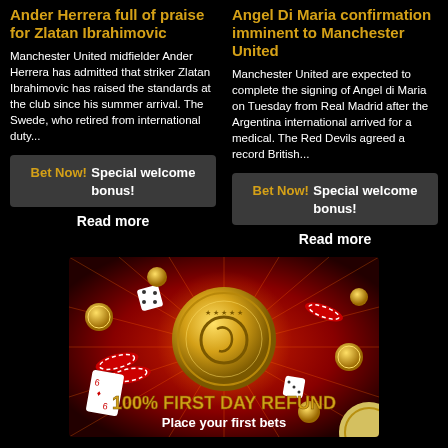Ander Herrera full of praise for Zlatan Ibrahimovic
Manchester United midfielder Ander Herrera has admitted that striker Zlatan Ibrahimovic has raised the standards at the club since his summer arrival. The Swede, who retired from international duty...
Bet Now! Special welcome bonus!
Read more
Angel Di Maria confirmation imminent to Manchester United
Manchester United are expected to complete the signing of Angel di Maria on Tuesday from Real Madrid after the Argentina international arrived for a medical. The Red Devils agreed a record British...
Bet Now! Special welcome bonus!
Read more
[Figure (illustration): Casino advertisement image featuring golden coins, poker chips (red and white), dice, and a large glowing gold coin/logo in the center on a red radiant background. Text overlay reads '100% FIRST DAY REFUND' and 'Place your first bets']